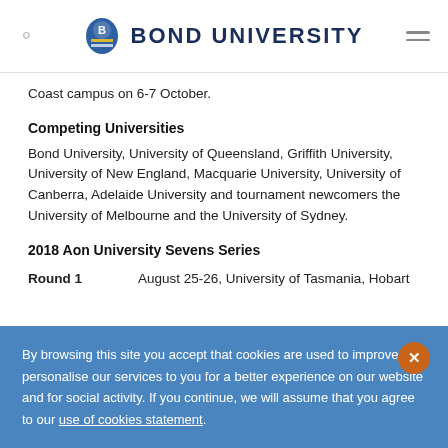BOND UNIVERSITY
Coast campus on 6-7 October.
Competing Universities
Bond University, University of Queensland, Griffith University, University of New England, Macquarie University, University of Canberra, Adelaide University and tournament newcomers the University of Melbourne and the University of Sydney.
2018 Aon University Sevens Series
Round 1    August 25-26, University of Tasmania, Hobart
By browsing this site you accept that cookies are used to improve and personalise our services to you for a better experience on our website and for social activity. If you continue, we will assume that you agree to our use of cookies statement.